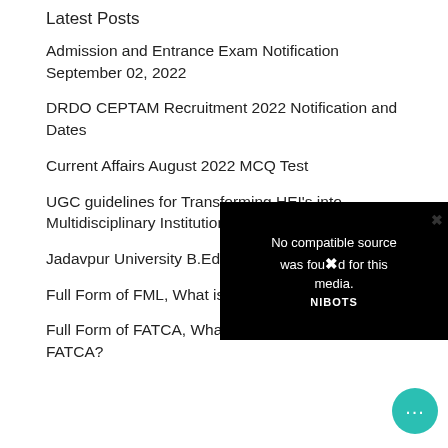Latest Posts
Admission and Entrance Exam Notification September 02, 2022
DRDO CEPTAM Recruitment 2022 Notification and Dates
Current Affairs August 2022 MCQ Test
UGC guidelines for Transforming HEI's into Multidisciplinary Institutions
Jadavpur University B.Ed Programme 2022
Full Form of FML, What is the Full Form FML?
Full Form of FATCA, What is the Full form of FATCA?
[Figure (screenshot): Video player overlay with black background showing 'No compatible source was found for this media.' message with NIBOTS branding and a close button (×)]